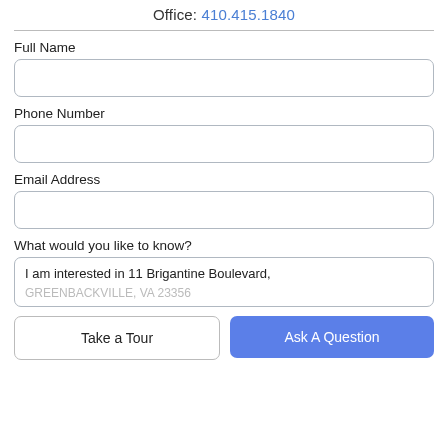Office: 410.415.1840
Full Name
Phone Number
Email Address
What would you like to know?
I am interested in 11 Brigantine Boulevard,
GREENBACKVILLE, VA 23356
Take a Tour
Ask A Question